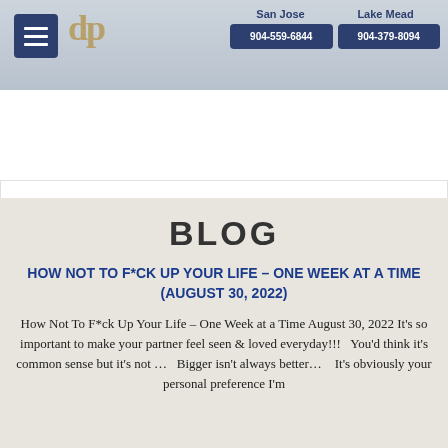San Jose 904-559-6844 | Lake Mead 904-379-8094
[Figure (screenshot): View all Reviews button in blue]
BLOG
HOW NOT TO F*CK UP YOUR LIFE – ONE WEEK AT A TIME (AUGUST 30, 2022)
How Not To F*ck Up Your Life – One Week at a Time August 30, 2022 It's so important to make your partner feel seen & loved everyday!!!   You'd think it's common sense but it's not …   Bigger isn't always better…   It's obviously your personal preference I'm